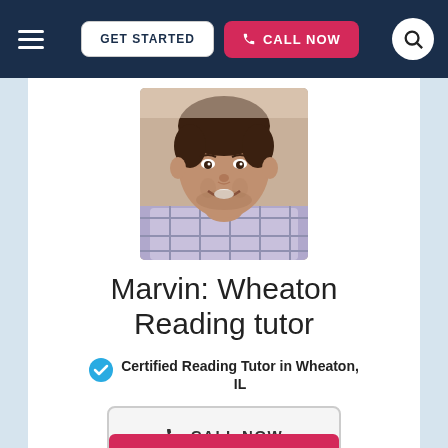GET STARTED  CALL NOW
[Figure (photo): Headshot photo of Marvin, a young man smiling, wearing a plaid shirt]
Marvin: Wheaton Reading tutor
Certified Reading Tutor in Wheaton, IL
CALL NOW
CALL NOW (pink button, partially visible)